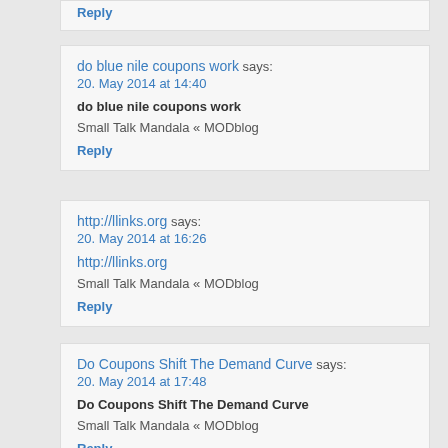Reply
do blue nile coupons work says:
20. May 2014 at 14:40

do blue nile coupons work

Small Talk Mandala « MODblog

Reply
http://llinks.org says:
20. May 2014 at 16:26

http://llinks.org

Small Talk Mandala « MODblog

Reply
Do Coupons Shift The Demand Curve says:
20. May 2014 at 17:48

Do Coupons Shift The Demand Curve

Small Talk Mandala « MODblog

Reply